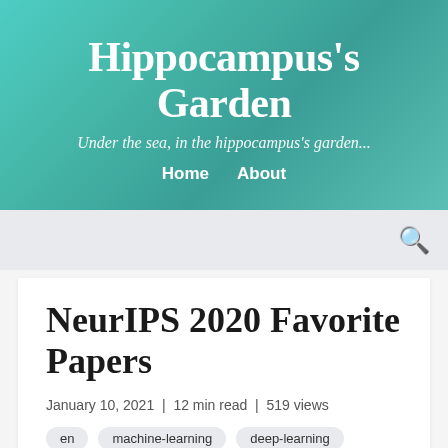Hippocampus's Garden
Under the sea, in the hippocampus's garden...
Home   About
NeurIPS 2020 Favorite Papers
January 10, 2021  |  12 min read  |  519 views
en
machine-learning
deep-learning